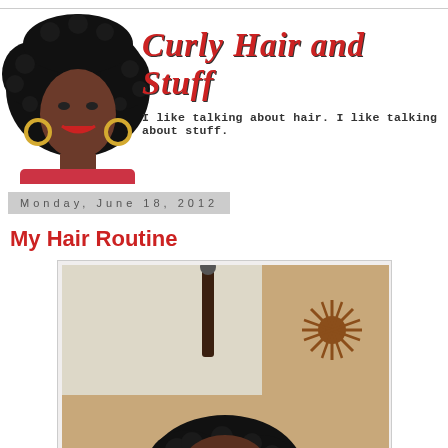[Figure (illustration): Blog header with illustrated curly-haired Black woman with large afro, gold hoop earrings, and red lips on left side; stylized red cursive script 'Curly Hair and Stuff' title with bold black monospace subtitle 'I like talking about hair. I like talking about stuff.']
Monday, June 18, 2012
My Hair Routine
[Figure (photo): Partial photo of a person with natural curly hair, taken indoors. A curtain rod is visible at top, and a decorative starburst wall ornament is visible in the upper right. The photo is cropped showing mainly the top of the head with curly hair.]